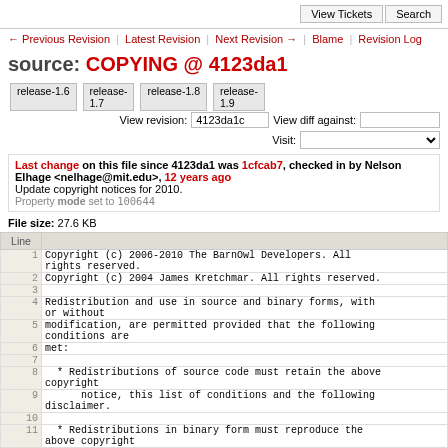View Tickets  Search
← Previous Revision | Latest Revision | Next Revision → | Blame | Revision Log
source: COPYING @ 4123da1
release-1.6  release-1.7  release-1.8  release-1.9   View revision: 4123da1c   View diff against:    Visit:
Last change on this file since 4123da1 was 1cfcab7, checked in by Nelson Elhage <nelhage@mit.edu>, 12 years ago
Update copyright notices for 2010.
Property mode set to 100644
File size: 27.6 KB
| Line |  |
| --- | --- |
| 1 | Copyright (c) 2006-2010 The BarnOwl Developers. All
 rights reserved. |
| 2 | Copyright (c) 2004 James Kretchmar. All rights reserved. |
| 3 |  |
| 4 | Redistribution and use in source and binary forms, with
 or without |
| 5 | modification, are permitted provided that the following
 conditions are |
| 6 | met: |
| 7 |  |
| 8 |     * Redistributions of source code must retain the above
 copyright |
| 9 |       notice, this list of conditions and the following
 disclaimer. |
| 10 |  |
| 11 |   * Redistributions in binary form must reproduce the
 above copyright |